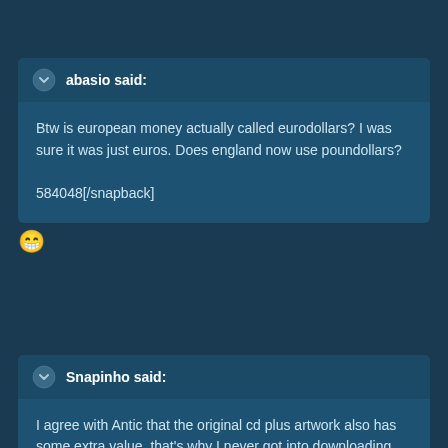abasio said:
Btw is european money actually called eurodollars? I was sure it was just euros. Does england now use poundollars?

584048[/snapback]
[Figure (illustration): Laughing emoji / grinning face with big eyes emoji]
Snapinho said:
I agree with Antic that the original cd plus artwork also has some extra value, that's why I never got into downloading stuff...